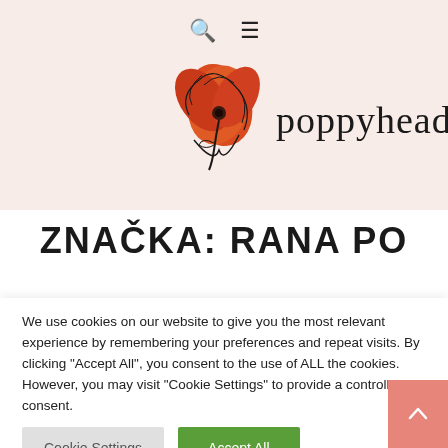🔍 ☰
[Figure (logo): Poppyhead brand logo: red poppy flower illustration with cursive 'poppyhead.' text]
ZNAČKA: RANA PO
We use cookies on our website to give you the most relevant experience by remembering your preferences and repeat visits. By clicking "Accept All", you consent to the use of ALL the cookies. However, you may visit "Cookie Settings" to provide a controlled consent.
Cookie Settings
Accept All